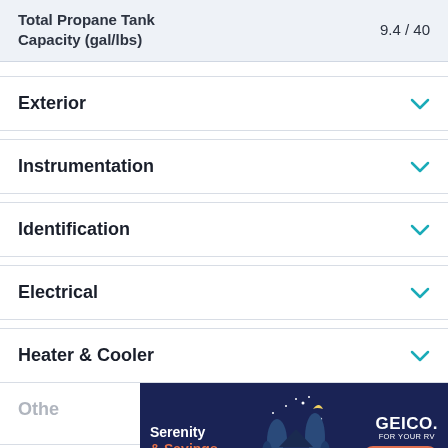| Feature | Value |
| --- | --- |
| Total Propane Tank Capacity (gal/lbs) | 9.4 / 40 |
Exterior
Instrumentation
Identification
Electrical
Heater & Cooler
[Figure (other): GEICO advertisement banner with dark blue background showing a house illustration, text 'Serenity & Savings' and 'GEICO. FOR YOUR RV' with a 'Start A Quote' button]
Othe
Inter